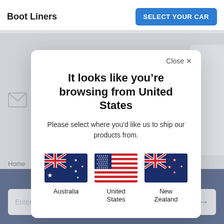Boot Liners
SELECT YOUR CAR
It looks like you’re browsing from United States
Please select where you’d like us to ship our products from.
[Figure (illustration): Three country flag icons for Australia, United States, and New Zealand displayed as selection options]
Australia
United States
New Zealand
Close ×
Home
Enter your email address